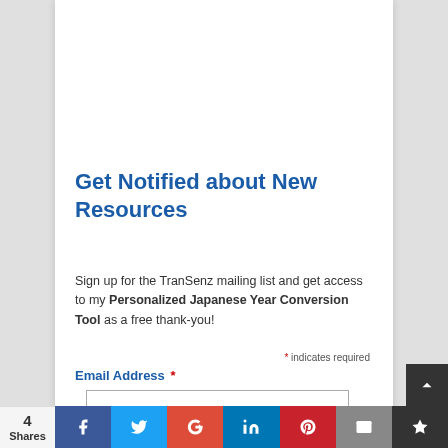Get Notified about New Resources
Sign up for the TranSenz mailing list and get access to my Personalized Japanese Year Conversion Tool as a free thank-you!
* indicates required
Email Address *
4 Shares | Facebook | Twitter | Google+ | LinkedIn | Pinterest | Email | Bookmark